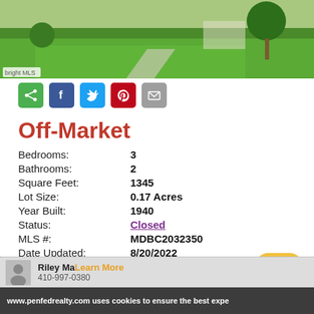[Figure (photo): Exterior photo of a house showing green lawn, driveway, and trees. 'bright MLS' watermark visible in bottom-left corner.]
Off-Market
| Field | Value |
| --- | --- |
| Bedrooms: | 3 |
| Bathrooms: | 2 |
| Square Feet: | 1345 |
| Lot Size: | 0.17 Acres |
| Year Built: | 1940 |
| Status: | Closed |
| MLS #: | MDBC2032350 |
| Date Updated: | 8/20/2022 |
www.penfedrealty.com uses cookies to ensure the best expe
Riley Ma  Learn More
Ok